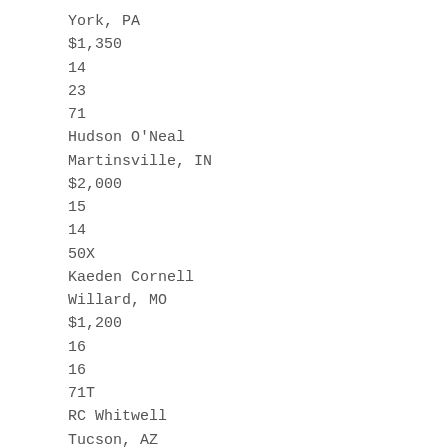York, PA
$1,350
14
23
71
Hudson O'Neal
Martinsville, IN
$2,000
15
14
50X
Kaeden Cornell
Willard, MO
$1,200
16
16
71T
RC Whitwell
Tucson, AZ
$1,100
17
7
20
Jimmy Owens
Newport, TN
$1,900
18
24